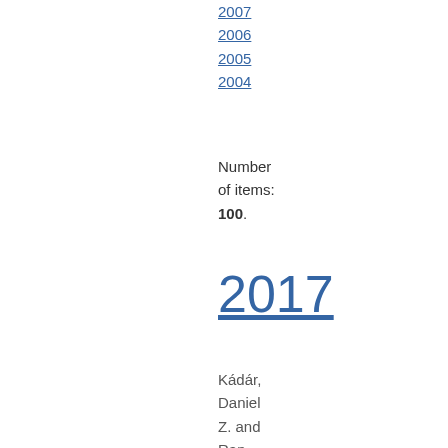2007 |
2006 |
2005 |
2004
Number of items: 100.
2017
Kádár, Daniel Z. and Ran, Yongping (2017) Indirect ritual offence – A case of elusive impoliteness,